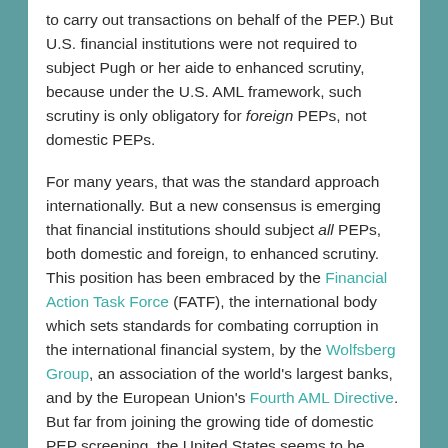to carry out transactions on behalf of the PEP.) But U.S. financial institutions were not required to subject Pugh or her aide to enhanced scrutiny, because under the U.S. AML framework, such scrutiny is only obligatory for foreign PEPs, not domestic PEPs.
For many years, that was the standard approach internationally. But a new consensus is emerging that financial institutions should subject all PEPs, both domestic and foreign, to enhanced scrutiny. This position has been embraced by the Financial Action Task Force (FATF), the international body which sets standards for combating corruption in the international financial system, by the Wolfsberg Group, an association of the world's largest banks, and by the European Union's Fourth AML Directive. But far from joining the growing tide of domestic PEP screening, the United States seems to be swimming against it. The United States is one of the few OECD countries that does not require domestic PEP screening, and this past August, the Financial Crimes Enforcement Network (FinCEN), the primary U.S. agency tasked with investigating financial crimes, reiterated that it "do[es] not...